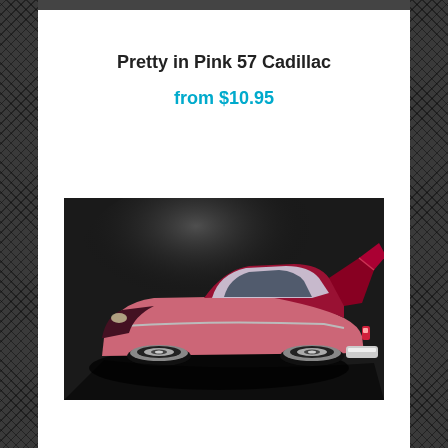Pretty in Pink 57 Cadillac
from $10.95
[Figure (photo): A pink/red 1957 Cadillac custom car photographed from a rear three-quarter angle on a dark studio background with spotlight effect. The car features dramatic tail fins, chrome bumper, and lowered stance with polished wheels.]